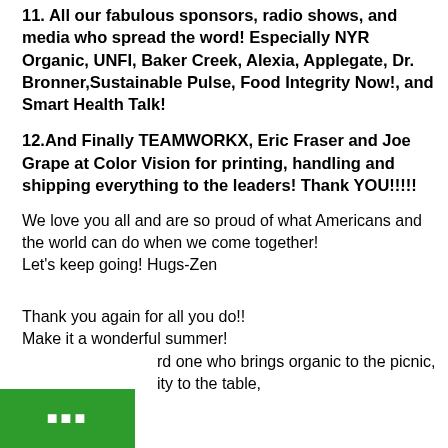11. All our fabulous sponsors, radio shows, and media who spread the word! Especially NYR Organic, UNFI, Baker Creek, Alexia, Applegate, Dr. Bronner,Sustainable Pulse, Food Integrity Now!, and Smart Health Talk!
12.And Finally TEAMWORKX, Eric Fraser and Joe Grape at Color Vision for printing, handling and shipping everything to the leaders! Thank YOU!!!!!
We love you all and are so proud of what Americans and the world can do when we come together!
Let's keep going! Hugs-Zen
Thank you again for all you do!!
Make it a wonderful summer!
[Be] the one who brings organic to the picnic,
bring [diversity] to the table,